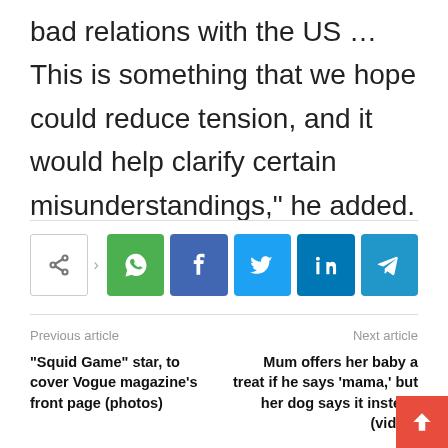bad relations with the US … This is something that we hope could reduce tension, and it would help clarify certain misunderstandings,” he added.
[Figure (infographic): Social share buttons: share (outline), WhatsApp (green), Facebook (blue), Twitter (light blue), LinkedIn (dark blue), Telegram (teal)]
Previous article
Next article
“Squid Game” star, to cover Vogue magazine’s front page (photos)
Mum offers her baby a treat if he says ‘mama,’ but her dog says it instead (video)